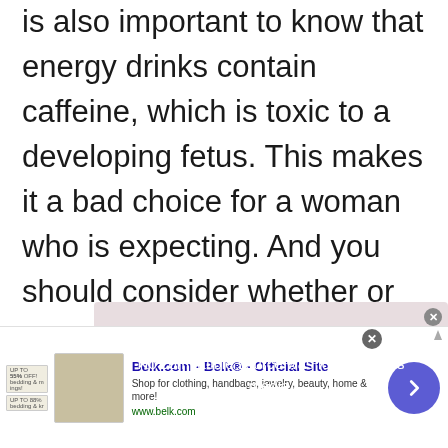is also important to know that energy drinks contain caffeine, which is toxic to a developing fetus. This makes it a bad choice for a woman who is expecting. And you should consider whether or not you are breastfeeding your baby. A healthy adult female can consume up to 25g of sugar daily.
[Figure (other): Video media placeholder with message 'No compatible source was found for this media.' overlaid on a faded background with silhouettes.]
[Figure (other): Advertisement banner for Belk.com - Belk Official Site. Shows product images, ad text 'Shop for clothing, handbags, jewelry, beauty, home & more!' and URL www.belk.com with navigation arrow button.]